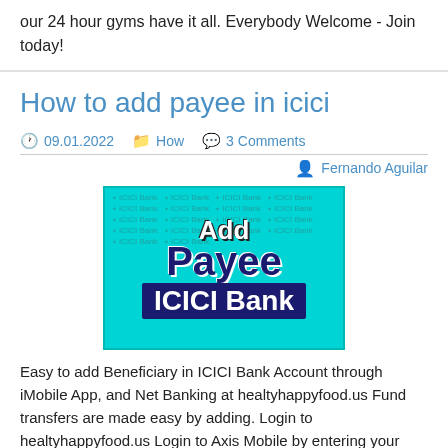our 24 hour gyms have it all. Everybody Welcome - Join today!
How to add payee in icici
09.01.2022   How   3 Comments   Fernando Aguilar
[Figure (illustration): Promotional banner for ICICI Bank showing 'Add Payee ICICI Bank' text on a teal/cyan background with repeated ICICI Bank watermark text]
Easy to add Beneficiary in ICICI Bank Account through iMobile App, and Net Banking at healtyhappyfood.us Fund transfers are made easy by adding. Login to healtyhappyfood.us Login to Axis Mobile by entering your MPIN; Register the beneficiary. Transfer -> Mobile Beneficiary (P2P)-> Add; Enter the mobile number and MMID of the.